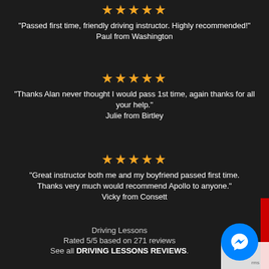[Figure (other): Five gold stars rating]
"Passed first time, friendly driving instructor. Highly recommended!"
Paul from Washington
[Figure (other): Five gold stars rating]
"Thanks Alan never thought I would pass 1st time, again thanks for all your help."
Julie from Birtley
[Figure (other): Five gold stars rating]
"Great instructor both me and my boyfriend passed first time. Thanks very much would recommend Apollo to anyone."
Vicky from Consett
Driving Lessons
Rated 5/5 based on 271 reviews
See all DRIVING LESSONS REVIEWS.